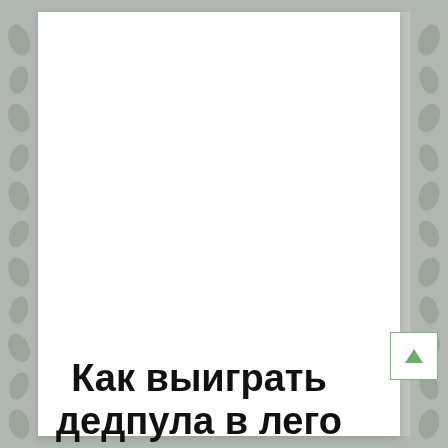[Figure (illustration): Decorative page with floral/leaf pattern border in grey tones surrounding a white inner page area. A small scroll-up button with a green upward triangle is visible at bottom right of the inner page.]
Как выиграть дедпула в лего